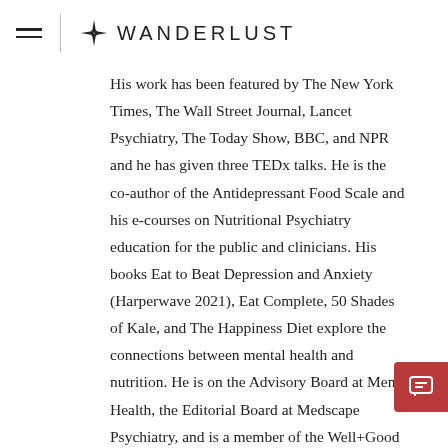WANDERLUST
His work has been featured by The New York Times, The Wall Street Journal, Lancet Psychiatry, The Today Show, BBC, and NPR and he has given three TEDx talks. He is the co-author of the Antidepressant Food Scale and his e-courses on Nutritional Psychiatry education for the public and clinicians. His books Eat to Beat Depression and Anxiety (Harperwave 2021), Eat Complete, 50 Shades of Kale, and The Happiness Diet explore the connections between mental health and nutrition. He is on the Advisory Board at Men's Health, the Editorial Board at Medscape Psychiatry, and is a member of the Well+Good Wellness Council.
Website | Instagram | Wanderlust TV